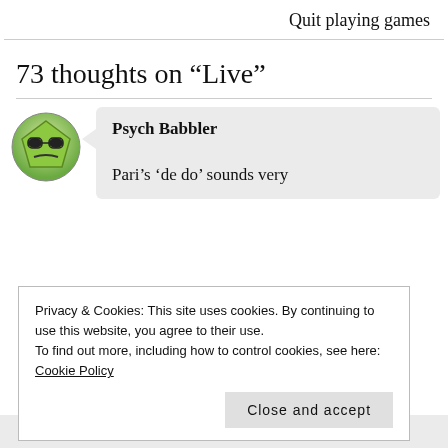Quit playing games
73 thoughts on “Live”
[Figure (illustration): Green cartoon face avatar with sunglasses, pentagon-shaped, looking unhappy]
Psych Babbler
Pari’s ‘de do’ sounds very
Privacy & Cookies: This site uses cookies. By continuing to use this website, you agree to their use.
To find out more, including how to control cookies, see here: Cookie Policy
Close and accept
reflects that! I love black